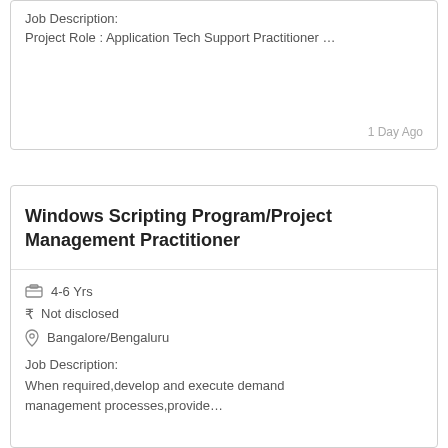Job Description:
Project Role : Application Tech Support Practitioner …
1 Day Ago
Windows Scripting Program/Project Management Practitioner
4-6 Yrs
Not disclosed
Bangalore/Bengaluru
Job Description:
When required,develop and execute demand management processes,provide…